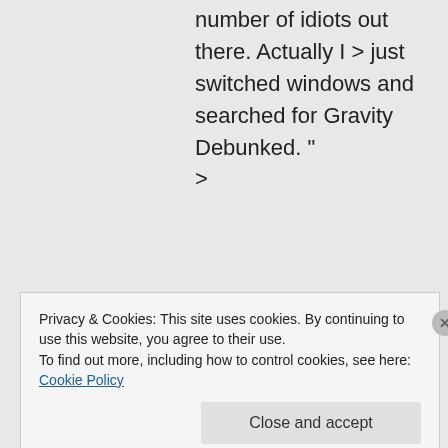number of idiots out there. Actually I > just switched windows and searched for Gravity Debunked. " >
★ Like
👍 1 👎 2 ℹ Rate This
Privacy & Cookies: This site uses cookies. By continuing to use this website, you agree to their use.
To find out more, including how to control cookies, see here: Cookie Policy
Close and accept